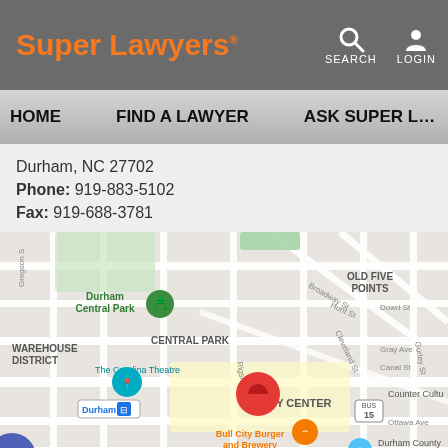Super Lawyers® SEARCH LOGIN
HOME   FIND A LAWYER   ASK SUPER L…
Durham, NC 27702
Phone: 919-883-5102
Fax: 919-688-3781
[Figure (map): Google Maps view of Durham City Center area showing Durham Central Park, Warehouse District, The Carolina Theatre, Bull City Burger and Brewery, Durham County Main Library, and a red location pin in City Center.]